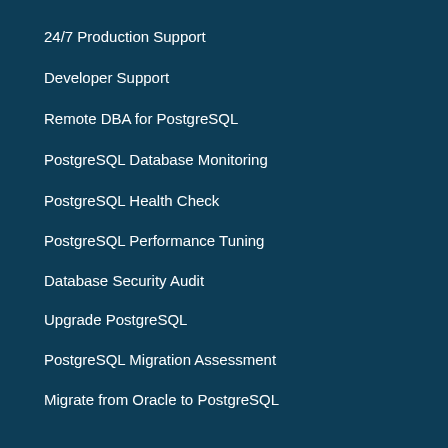24/7 Production Support
Developer Support
Remote DBA for PostgreSQL
PostgreSQL Database Monitoring
PostgreSQL Health Check
PostgreSQL Performance Tuning
Database Security Audit
Upgrade PostgreSQL
PostgreSQL Migration Assessment
Migrate from Oracle to PostgreSQL
Products
HA Postgres Clusters
Postgres-BDR®